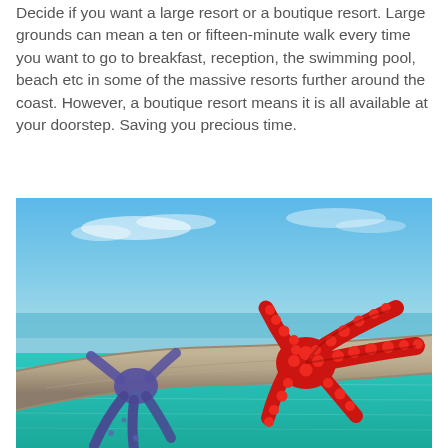Decide if you want a large resort or a boutique resort. Large grounds can mean a ten or fifteen-minute walk every time you want to go to breakfast, reception, the swimming pool, beach etc in some of the massive resorts further around the coast. However, a boutique resort means it is all available at your doorstep. Saving you precious time.
[Figure (photo): Two starfish — one purple/blue and one bright red — resting on a weathered wooden log or beam, with bright blue sky and clear turquoise sea water visible in the background.]